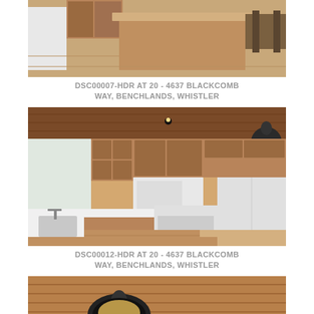[Figure (photo): Interior photo of kitchen with wooden island countertop, light wood cabinets, hardwood floors, and dining table in background]
DSC00007-HDR AT 20 - 4637 BLACKCOMB WAY, BENCHLANDS, WHISTLER
[Figure (photo): Interior photo of full kitchen with wooden cabinets, white appliances including microwave, stove, and refrigerator, white countertops, and pendant lighting]
DSC00012-HDR AT 20 - 4637 BLACKCOMB WAY, BENCHLANDS, WHISTLER
[Figure (photo): Partial interior photo showing wooden ceiling with pendant light fixture]